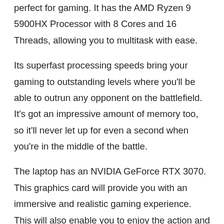perfect for gaming. It has the AMD Ryzen 9 5900HX Processor with 8 Cores and 16 Threads, allowing you to multitask with ease.
Its superfast processing speeds bring your gaming to outstanding levels where you'll be able to outrun any opponent on the battlefield. It's got an impressive amount of memory too, so it'll never let up for even a second when you're in the middle of the battle.
The laptop has an NVIDIA GeForce RTX 3070. This graphics card will provide you with an immersive and realistic gaming experience. This will also enable you to enjoy the action and pictures in full high definition.